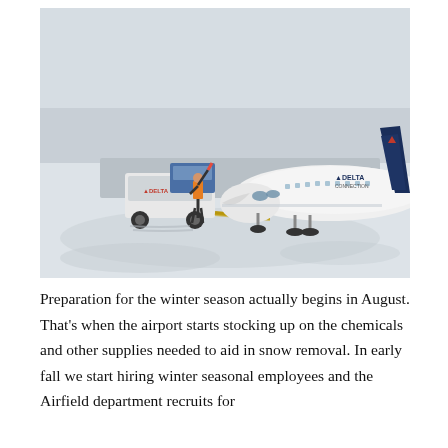[Figure (photo): A Delta Connection regional jet being pushed back by a Delta ground tug on a snow-covered airport tarmac. A ground crew member in an orange safety vest stands to the left waving a signal wand. The aircraft is white with Delta branding on the tail and fuselage.]
Preparation for the winter season actually begins in August. That's when the airport starts stocking up on the chemicals and other supplies needed to aid in snow removal. In early fall we start hiring winter seasonal employees and the Airfield department recruits for